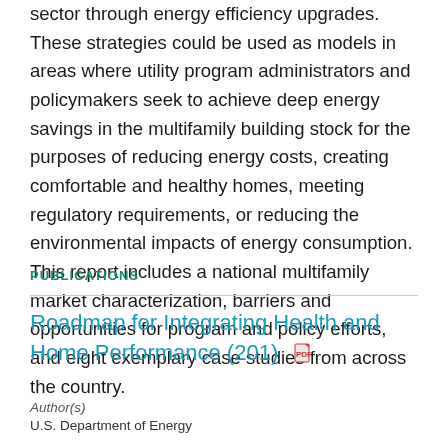sector through energy efficiency upgrades. These strategies could be used as models in areas where utility program administrators and policymakers seek to achieve deep energy savings in the multifamily building stock for the purposes of reducing energy costs, creating comfortable and healthy homes, meeting regulatory requirements, or reducing the environmental impacts of energy consumption. This report includes a national multifamily market characterization, barriers and opportunities for program and policy efforts, and eight exemplary case studies from across the country.
PUBLICATIONS
Roadmap for Integrating Health and Home Performance (201)
Author(s)
U.S. Department of Energy